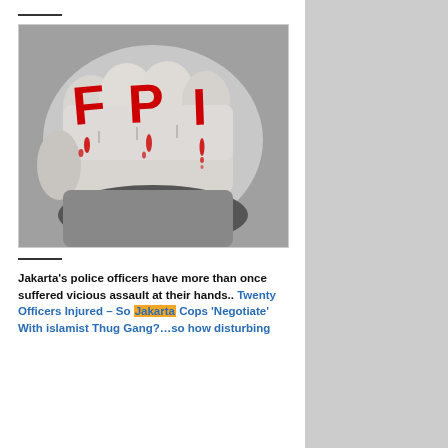[Figure (photo): Black and white photo of a clenched fist with 'FPI' written in dripping red letters across the knuckles]
Jakarta's police officers have more than once suffered vicious assault at their hands.. Twenty Officers Injured – So Jakarta Cops 'Negotiate' With islamist Thug Gang?…so how disturbing